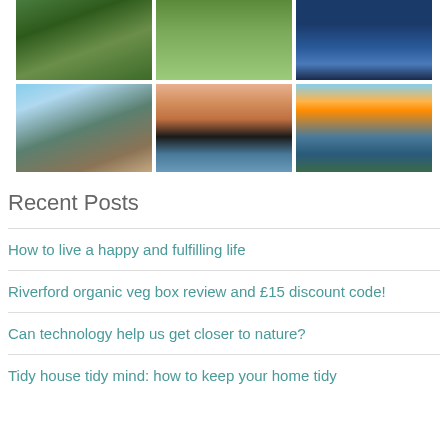[Figure (photo): Grid of 6 nature/landscape photos: top row shows coastal cliff with green vegetation, stone path with grass, dark water with trees reflected; bottom row shows rocky beach with layered stone cliffs, sunset silhouette over sea with two rock formations, sunset over coastal cliffs with grassy hillside]
Recent Posts
How to live a happy and fulfilling life
Riverford organic veg box review and £15 discount code!
Can technology help us get closer to nature?
Tidy house tidy mind: how to keep your home tidy